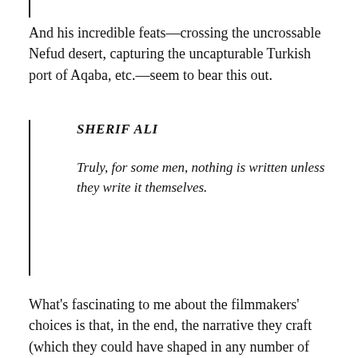And his incredible feats—crossing the uncrossable Nefud desert, capturing the uncapturable Turkish port of Aqaba, etc.—seem to bear this out.
SHERIF ALI

Truly, for some men, nothing is written unless they write it themselves.
What's fascinating to me about the filmmakers' choices is that, in the end, the narrative they craft (which they could have shaped in any number of other ways) cedes the case that Fate is the ultimate decider. Events as they unfold, including Lawrence's destiny, apparently were